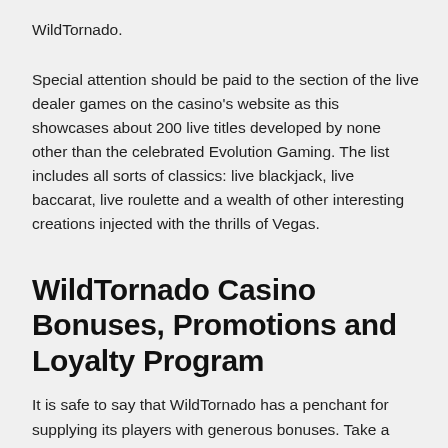WildTornado.
Special attention should be paid to the section of the live dealer games on the casino’s website as this showcases about 200 live titles developed by none other than the celebrated Evolution Gaming. The list includes all sorts of classics: live blackjack, live baccarat, live roulette and a wealth of other interesting creations injected with the thrills of Vegas.
WildTornado Casino Bonuses, Promotions and Loyalty Program
It is safe to say that WildTornado has a penchant for supplying its players with generous bonuses. Take a Welcome Offer as an